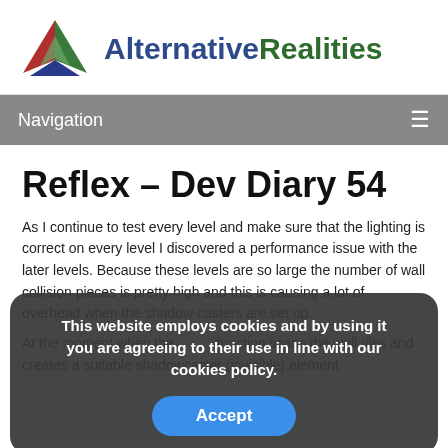[Figure (logo): AlternativeRealities website logo with geometric triangular icon in red, green, and blue, beside the brand name in dark blue and dark green text]
Navigation
Reflex – Dev Diary 54
As I continue to test every level and make sure that the lighting is correct on every level I discovered a performance issue with the later levels. Because these levels are so large the number of wall collision pieces is pretty high and this is causing a lot of overhead when the shadow casters are set up.
This website employs cookies and by using it you are agreeing to their use in line with our cookies policy.
At the moment when the [function] function scans the wall tiles and creates a suitable shadowcaster (invisible) element